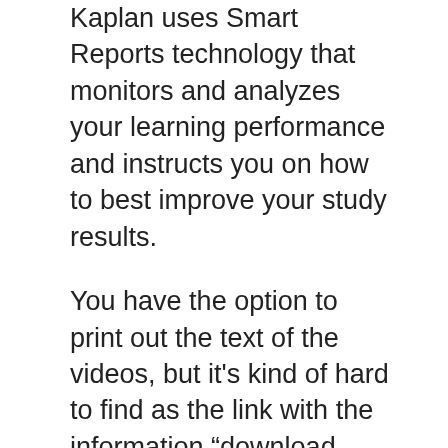Kaplan uses Smart Reports technology that monitors and analyzes your learning performance and instructs you on how to best improve your study results.
You have the option to print out the text of the videos, but it’s kind of hard to find as the link with the information “download lecture notes” is somewhat hidden at the bottom of the page.
If you click on this link, a pdf document opens that includes many pages. Bear this in mind if you think about printing these notes.
The Kaplan lectures are rather long which makes it a bit boring. Some students report that, after a while, they experienced some